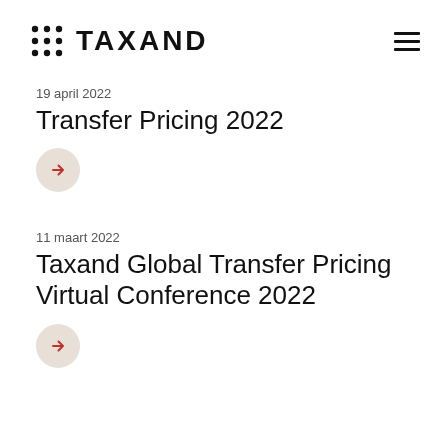TAXAND
19 april 2022
Transfer Pricing 2022
19 maart 2022
Taxand Global Transfer Pricing Virtual Conference 2022